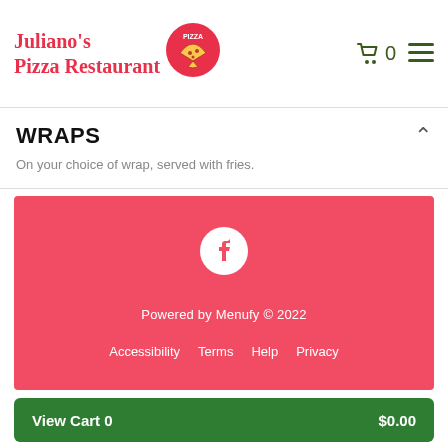[Figure (logo): Juliano's Pizza Restaurant logo with red text and circular pizza badge]
WRAPS
On your choice of wrap, served with fries.
[Figure (infographic): Red footer panel with Facebook icon, 'Powered by Menufy © 2022' text, and footer links: Accessibility, Terms, Help, Privacy]
View Cart 0   $0.00